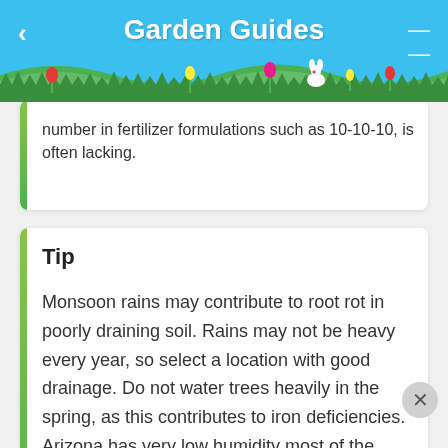Garden Guides
number in fertilizer formulations such as 10-10-10, is often lacking.
Tip
Monsoon rains may contribute to root rot in poorly draining soil. Rains may not be heavy every year, so select a location with good drainage. Do not water trees heavily in the spring, as this contributes to iron deficiencies. Arizona has very low humidity most of the year. Soak bare-root trees or neglected nursery stock for 24 hours before planting to rehydrate